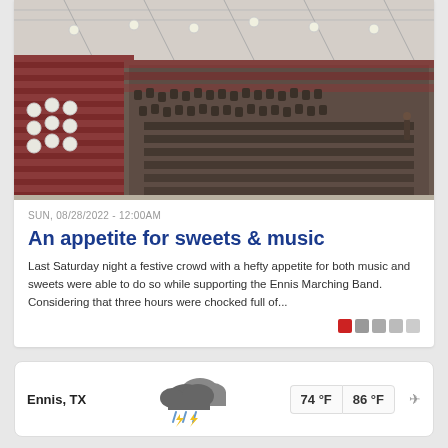[Figure (photo): Indoor gymnasium/arena with marching band members seated in bleachers. Rows of dark red/maroon stadium seats visible. Band members in marching uniforms, some holding instruments. White ceiling with steel beams and lighting visible above.]
SUN, 08/28/2022 - 12:00AM
An appetite for sweets & music
Last Saturday night a festive crowd with a hefty appetite for both music and sweets were able to do so while supporting the Ennis Marching Band. Considering that three hours were chocked full of...
[Figure (infographic): Weather widget showing Ennis, TX with thunderstorm clouds icon, temperatures 74°F and 86°F, and a send/location icon]